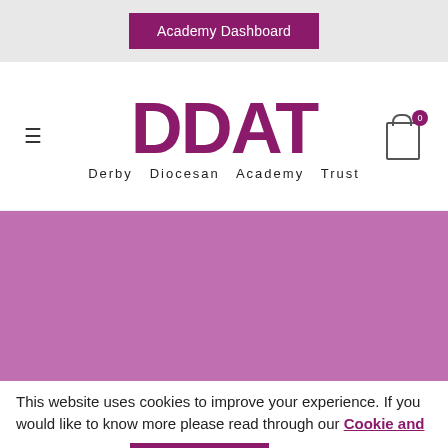Academy Dashboard
[Figure (logo): DDAT Derby Diocesan Academy Trust logo with hamburger menu and cart icon]
[Figure (photo): Hero image area with solid purple/mauve background color]
This website uses cookies to improve your experience. If you would like to know more please read through our Cookie and Privacy Policy
Accept & Close
Cookie settings